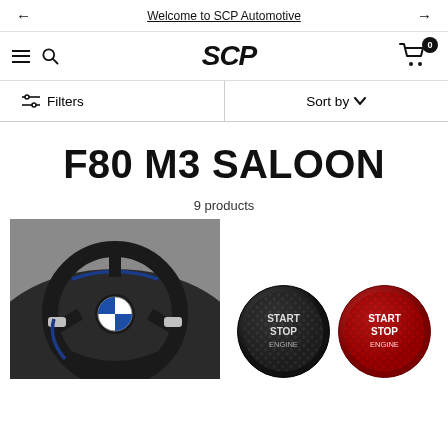← Welcome to SCP Automotive →
[Figure (logo): SCP Automotive logo in bold italic black text]
Filters
Sort by
F80 M3 SALOON
9 products
[Figure (photo): Photo of a BMW F80 M3 steering wheel interior, black with blue stitching]
[Figure (photo): Two circular carbon fiber start/stop engine button covers, one black and one red]